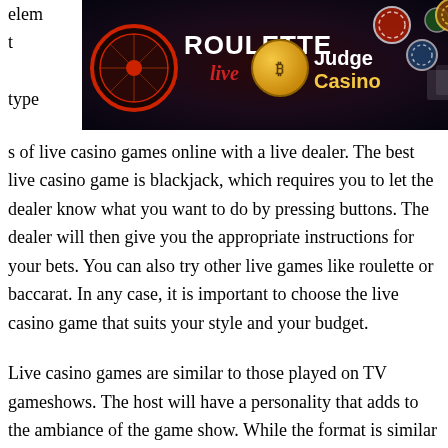[Figure (photo): Casino banner image showing a roulette live game logo with red circular design on the left, and JudgeCasino branding with gold coin on the right, against a dark background with casino chips and playing cards.]
s of live casino games online with a live dealer. The best live casino game is blackjack, which requires you to let the dealer know what you want to do by pressing buttons. The dealer will then give you the appropriate instructions for your bets. You can also try other live games like roulette or baccarat. In any case, it is important to choose the live casino game that suits your style and your budget.
Live casino games are similar to those played on TV gameshows. The host will have a personality that adds to the ambiance of the game show. While the format is similar to television shows, the live online platform offers new elements. The live casino games are a way for players to engage in a live experience without leaving the comfort of their home. The live casino games are not extras – you'll have to deposit funds to participate.